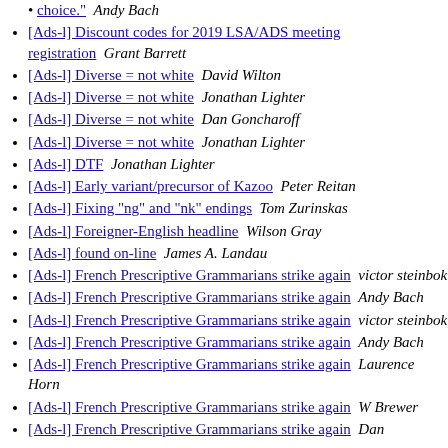choice." Andy Bach
[Ads-l] Discount codes for 2019 LSA/ADS meeting registration  Grant Barrett
[Ads-l] Diverse = not white  David Wilton
[Ads-l] Diverse = not white  Jonathan Lighter
[Ads-l] Diverse = not white  Dan Goncharoff
[Ads-l] Diverse = not white  Jonathan Lighter
[Ads-l] DTF  Jonathan Lighter
[Ads-l] Early variant/precursor of Kazoo  Peter Reitan
[Ads-l] Fixing "ng" and "nk" endings  Tom Zurinskas
[Ads-l] Foreigner-English headline  Wilson Gray
[Ads-l] found on-line  James A. Landau
[Ads-l] French Prescriptive Grammarians strike again  victor steinbok
[Ads-l] French Prescriptive Grammarians strike again  Andy Bach
[Ads-l] French Prescriptive Grammarians strike again  victor steinbok
[Ads-l] French Prescriptive Grammarians strike again  Andy Bach
[Ads-l] French Prescriptive Grammarians strike again  Laurence Horn
[Ads-l] French Prescriptive Grammarians strike again  W Brewer
[Ads-l] French Prescriptive Grammarians strike again  Dan